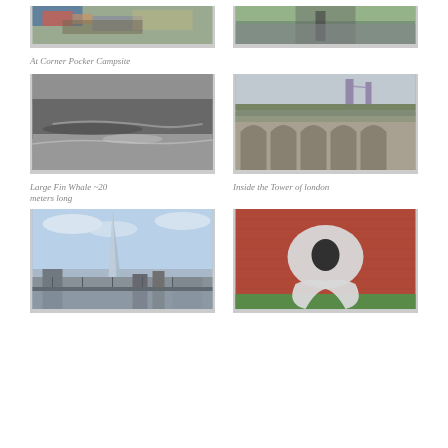[Figure (photo): Camping gear and people at Corner Pocker Campsite]
[Figure (photo): Street scene with trees, possibly London]
At Corner Pocker Campsite
[Figure (photo): Large Fin Whale in ocean water, approximately 20 meters long]
[Figure (photo): Inside the Tower of London, showing arched stonework and Tower Bridge in background]
Large Fin Whale ~20 meters long
Inside the Tower of london
[Figure (photo): The Shard skyscraper in London viewed from the river]
[Figure (photo): Mosaic artwork of a fish/whale tail on a brick surface]